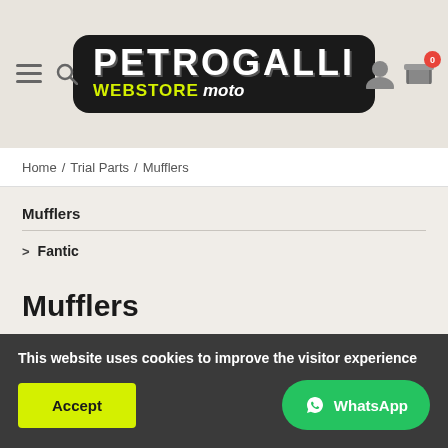[Figure (logo): Petrogalli Webstore Moto logo — black rounded rectangle with PETROGALLI in white uppercase bold, WEBSTORE in yellow-green, moto in white italic]
Home / Trial Parts / Mufflers
Mufflers
> Fantic
Mufflers
This website uses cookies to improve the visitor experience